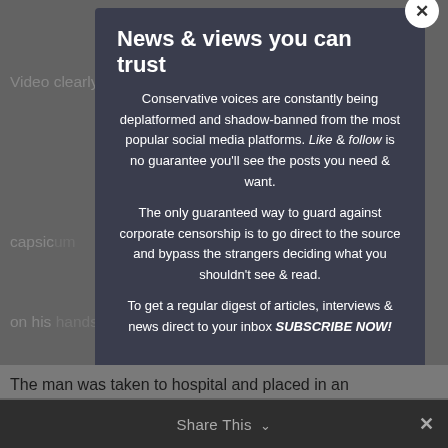Video clearly shows the man attempting to assa... capsic...ound on his hands and knees, all signs of resistance gone...er repeatedly kicks him.
[Figure (screenshot): Modal popup overlay with dark background on a news article page]
News & views you can trust
Conservative voices are constantly being deplatformed and shadow-banned from the most popular social media platforms. Like & follow is no guarantee you'll see the posts you need & want.

The only guaranteed way to guard against corporate censorship is to go direct to the source and bypass the strangers deciding what you shouldn't see & read.

To get a regular digest of articles, interviews & news direct to your inbox SUBSCRIBE NOW!
The brief below video from a different angle also appears to...the man's head ag...officers se...round him face down on a traffic island.
The man was taken to hospital and placed in an
Share This